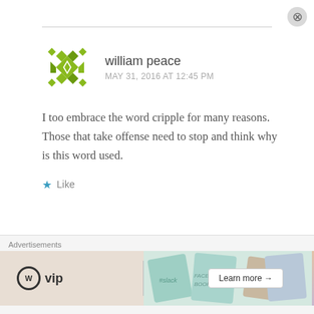william peace
MAY 31, 2016 AT 12:45 PM
I too embrace the word cripple for many reasons. Those that take offense need to stop and think why is this word used.
Like
Pingback: Action Alert: Protest Disability Snuff Film "Me Before You"!
Pingback: Who Am I To Stop It – Boo to "Me
[Figure (other): WordPress VIP advertisement banner with colorful card/logo collage and Learn more button]